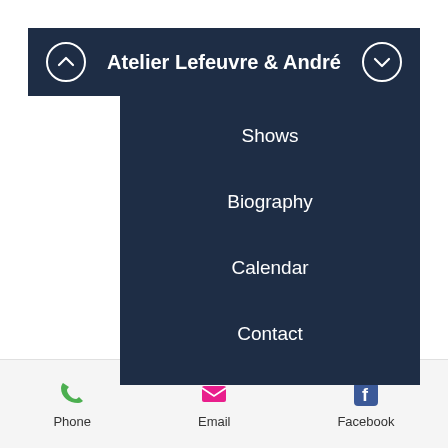Atelier Lefeuvre & André
Shows
Biography
Calendar
Contact
[Figure (logo): 8M3 handwritten logo]
Phone   Email   Facebook